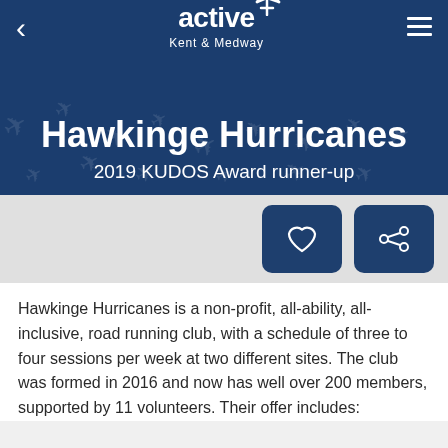[Figure (logo): Active Kent & Medway logo with star/airplane icon, white on dark blue background]
Hawkinge Hurricanes
2019 KUDOS Award runner-up
Hawkinge Hurricanes is a non-profit, all-ability, all-inclusive, road running club, with a schedule of three to four sessions per week at two different sites. The club was formed in 2016 and now has well over 200 members, supported by 11 volunteers. Their offer includes: